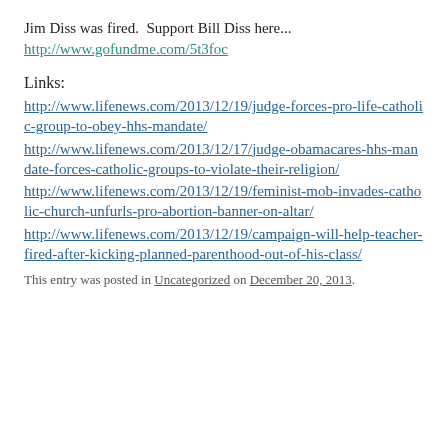Jim Diss was fired.  Support Bill Diss here...
http://www.gofundme.com/5t3foc
Links:
http://www.lifenews.com/2013/12/19/judge-forces-pro-life-catholic-group-to-obey-hhs-mandate/
http://www.lifenews.com/2013/12/17/judge-obamacares-hhs-mandate-forces-catholic-groups-to-violate-their-religion/
http://www.lifenews.com/2013/12/19/feminist-mob-invades-catholic-church-unfurls-pro-abortion-banner-on-altar/
http://www.lifenews.com/2013/12/19/campaign-will-help-teacher-fired-after-kicking-planned-parenthood-out-of-his-class/
This entry was posted in Uncategorized on December 20, 2013.